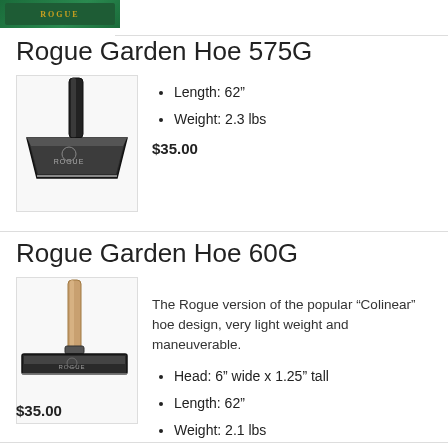[Figure (photo): Partial top image of a Rogue garden hoe tool with green background]
Rogue Garden Hoe 575G
[Figure (photo): Rogue Garden Hoe 575G - heavy dark metal hoe head with black handle]
Length: 62”
Weight: 2.3 lbs
$35.00
Rogue Garden Hoe 60G
[Figure (photo): Rogue Garden Hoe 60G - T-shaped wide hoe head with wooden handle]
The Rogue version of the popular “Colinear” hoe design, very light weight and maneuverable.
Head: 6” wide x 1.25” tall
Length: 62”
Weight: 2.1 lbs
$35.00